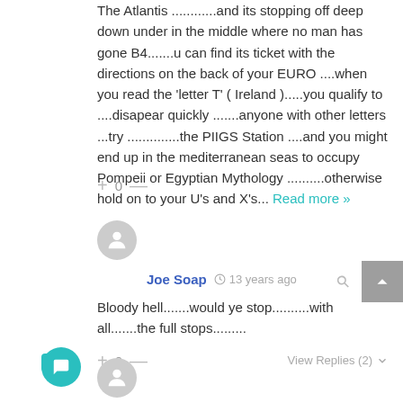The Atlantis ............and its stopping off deep down under in the middle where no man has gone B4.......u can find its ticket with the directions on the back of your EURO ....when you read the 'letter T' ( Ireland ).....you qualify to ....disapear quickly .......anyone with other letters ...try ..............the PIIGS Station ....and you might end up in the mediterranean seas to occupy Pompeii or Egyptian Mythology ..........otherwise hold on to your U's and X's... Read more »
+ 0 —
Joe Soap  13 years ago
Bloody hell.......would ye stop..........with all.......the full stops.........
+ 0 —   View Replies (2)